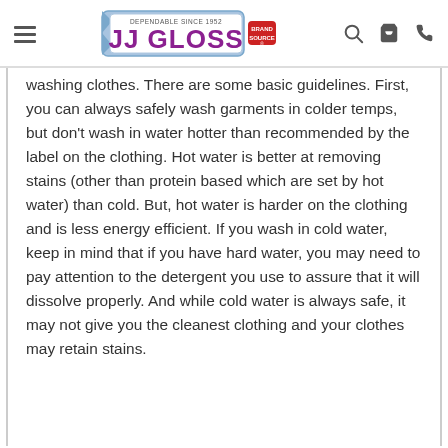JJ Gloss — Dependable Since 1952 | Brand Source
washing clothes. There are some basic guidelines. First, you can always safely wash garments in colder temps, but don't wash in water hotter than recommended by the label on the clothing. Hot water is better at removing stains (other than protein based which are set by hot water) than cold. But, hot water is harder on the clothing and is less energy efficient. If you wash in cold water, keep in mind that if you have hard water, you may need to pay attention to the detergent you use to assure that it will dissolve properly. And while cold water is always safe, it may not give you the cleanest clothing and your clothes may retain stains.